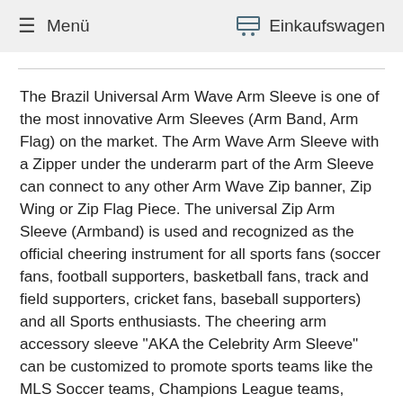Menü  Einkaufswagen
The Brazil Universal Arm Wave Arm Sleeve is one of the most innovative Arm Sleeves (Arm Band, Arm Flag) on the market. The Arm Wave Arm Sleeve with a Zipper under the underarm part of the Arm Sleeve can connect to any other Arm Wave Zip banner, Zip Wing or Zip Flag Piece. The universal Zip Arm Sleeve (Armband) is used and recognized as the official cheering instrument for all sports fans (soccer fans, football supporters, basketball fans, track and field supporters, cricket fans, baseball supporters) and all Sports enthusiasts. The cheering arm accessory sleeve "AKA the Celebrity Arm Sleeve" can be customized to promote sports teams like the MLS Soccer teams, Champions League teams, UEFA English league teams, Spanish league teams, World Cup soccer teams, Olympics country teams, NBA Teams, NFL teams, NCAA College teams, MLB